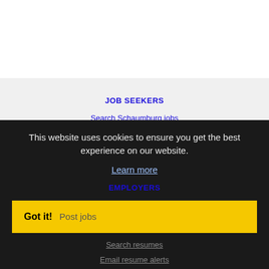JOB SEEKERS
Search Schaumburg jobs
Post your resume
Email job alerts
This website uses cookies to ensure you get the best experience on our website.
Learn more
EMPLOYERS
Got it!  Post jobs
Search resumes
Email resume alerts